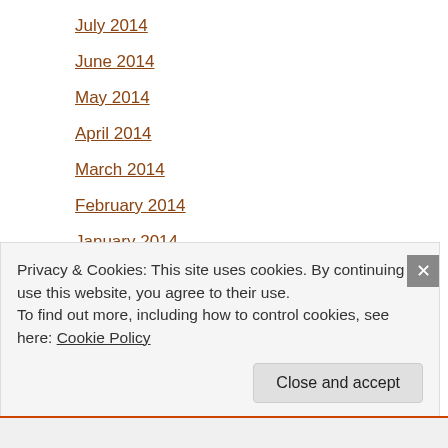July 2014
June 2014
May 2014
April 2014
March 2014
February 2014
January 2014
December 2013
November 2013
October 2013
March 2013
Privacy & Cookies: This site uses cookies. By continuing to use this website, you agree to their use. To find out more, including how to control cookies, see here: Cookie Policy
Close and accept